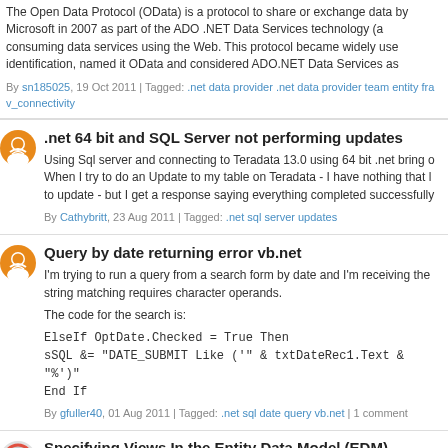The Open Data Protocol (OData) is a protocol to share or exchange data by Microsoft in 2007 as part of the ADO .NET Data Services technology (a consuming data services using the Web. This protocol became widely use identification, named it OData and considered ADO.NET Data Services as
By sn185025, 19 Oct 2011 | Tagged: .net data provider .net data provider team entity fra v_connectivity
.net 64 bit and SQL Server not performing updates
Using Sql server and connecting to Teradata 13.0 using 64 bit .net bring o When I try to do an Update to my table on Teradata - I have nothing that l to update - but I get a response saying everything completed successfully
By Cathybritt, 23 Aug 2011 | Tagged: .net sql server updates
Query by date returning error vb.net
I'm trying to run a query from a search form by date and I'm receiving the string matching requires character operands.
The code for the search is:
By gfuller40, 01 Aug 2011 | Tagged: .net sql date query vb.net | 1 comment
Specifying Views In the Entity Data Model (EDM) Wizard